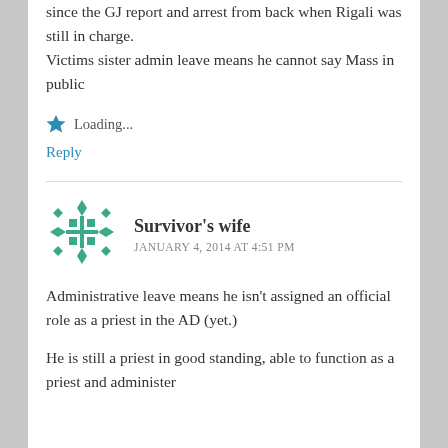since the GJ report and arrest from back when Rigali was still in charge. Victims sister admin leave means he cannot say Mass in public
Loading...
Reply
[Figure (illustration): Green decorative avatar icon with diamond/square pattern]
Survivor's wife
JANUARY 4, 2014 AT 4:51 PM
Administrative leave means he isn't assigned an official role as a priest in the AD (yet.)
He is still a priest in good standing, able to function as a priest and administer